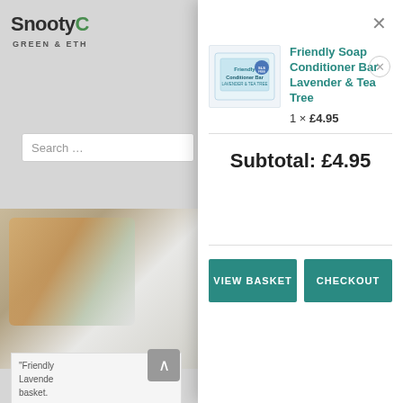[Figure (screenshot): Background website page showing SnootypCat Green & Ethical logo, search bar, image of brushes, teal banner with text, and a review snippet]
×
[Figure (photo): Product image: Friendly Soap Conditioner Bar Lavender & Tea Tree packaging]
Friendly Soap Conditioner Bar Lavender & Tea Tree
1 × £4.95
Subtotal: £4.95
VIEW BASKET
CHECKOUT